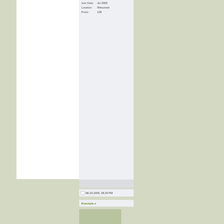Join Date: Jul 2005
Location: Wisconsin
Posts: 128
08-23-2005, 08:29 PM
Kinchyle